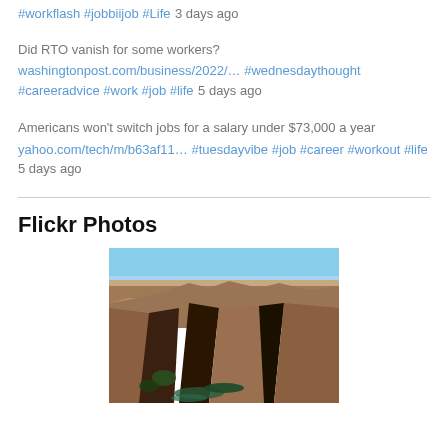#workflash #jobbiijob #Life 3 days ago
Did RTO vanish for some workers?
washingtonpost.com/business/2022/… #wednesdaythought #careeradvice #work #job #life 5 days ago
Americans won't switch jobs for a salary under $73,000 a year
yahoo.com/tech/m/b63af11… #tuesdayvibe #job #career #workout #life 5 days ago
Flickr Photos
[Figure (photo): Canyon landscape with a river winding through deep red rock walls, blue sky in the background.]